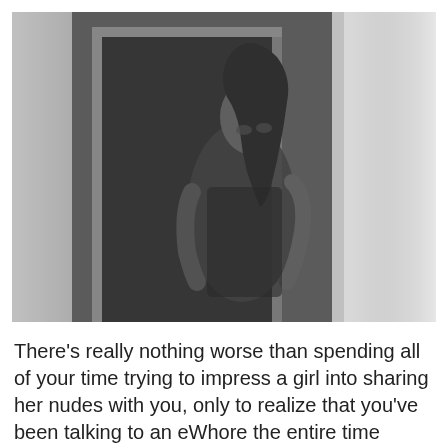[Figure (photo): Black and white photograph of a young woman with long dark hair standing near a doorway and window, wearing dark lingerie, lit from the right side by bright natural light.]
There's really nothing worse than spending all of your time trying to impress a girl into sharing her nudes with you, only to realize that you've been talking to an eWhore the entire time